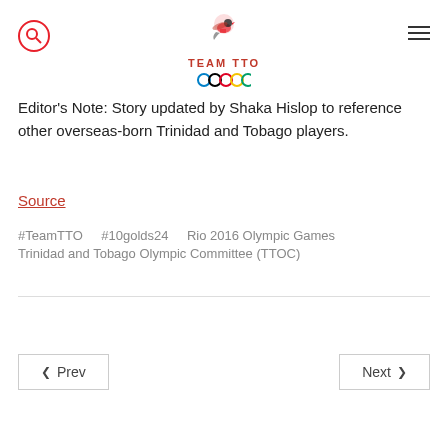Team TTO logo with search icon and menu icon
Editor's Note: Story updated by Shaka Hislop to reference other overseas-born Trinidad and Tobago players.
Source
#TeamTTO   #10golds24   Rio 2016 Olympic Games   Trinidad and Tobago Olympic Committee (TTOC)